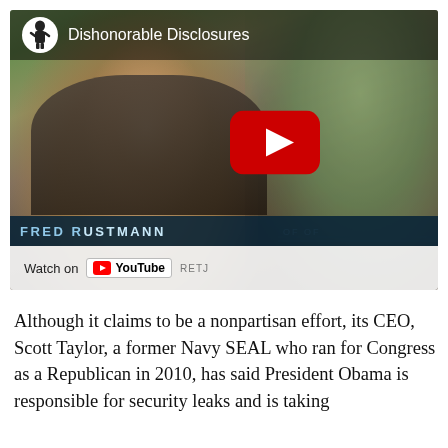[Figure (screenshot): YouTube video thumbnail for 'Dishonorable Disclosures' showing an elderly man (Fred Rustmann, retired CIA officer) being interviewed, with YouTube play button overlay and 'Watch on YouTube' bar at bottom.]
Although it claims to be a nonpartisan effort, its CEO, Scott Taylor, a former Navy SEAL who ran for Congress as a Republican in 2010, has said President Obama is responsible for security leaks and is taking